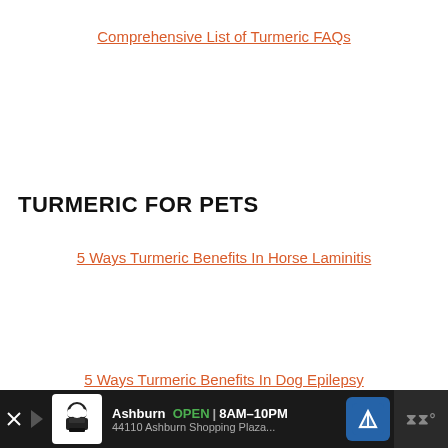Comprehensive List of Turmeric FAQs
TURMERIC FOR PETS
5 Ways Turmeric Benefits In Horse Laminitis
5 Ways Turmeric Benefits In Dog Epilepsy
[Figure (other): Advertisement banner: Ashburn OPEN 8AM-10PM, 44110 Ashburn Shopping Plaza... with navigation icon and branding logos]